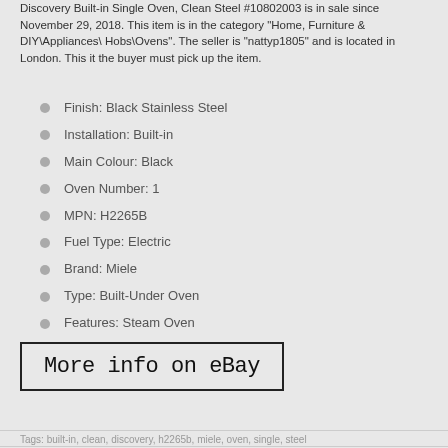Discovery Built-in Single Oven, Clean Steel #10802003 is in sale since November 29, 2018. This item is in the category “Home, Furniture & DIY\Appliances\Hobs\Ovens". The seller is “nattyp1805” and is located in London. This item the buyer must pick up the item.
Finish: Black Stainless Steel
Installation: Built-in
Main Colour: Black
Oven Number: 1
MPN: H2265B
Fuel Type: Electric
Brand: Miele
Type: Built-Under Oven
Features: Steam Oven
Energy Efficiency Rating: A+
More info on eBay
Tags: built-in, clean, discovery, h2265b, miele, oven, single, steel